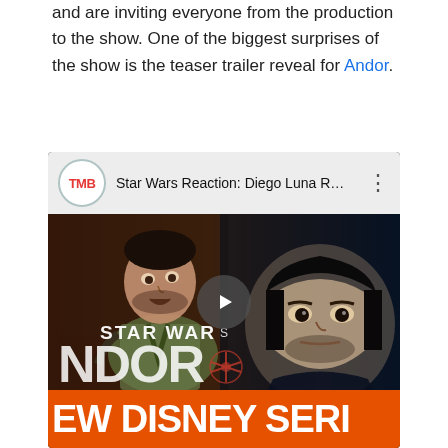and are inviting everyone from the production to the show. One of the biggest surprises of the show is the teaser trailer reveal for Andor.
[Figure (screenshot): YouTube video embed showing Star Wars Andor teaser trailer reaction video thumbnail. The video bar shows TMB channel logo and title 'Star Wars Reaction: Diego Luna R...' with a three-dot menu. The thumbnail shows two images of Diego Luna as Cassian Andor with Star Wars Andor logo. A play button is overlaid in the center. The bottom orange bar reads 'EW DISNEY SERI' (partially visible).]